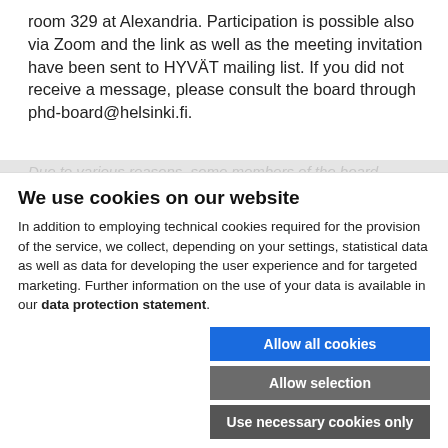room 329 at Alexandria. Participation is possible also via Zoom and the link as well as the meeting invitation have been sent to HYVÄT mailing list. If you did not receive a message, please consult the board through phd-board@helsinki.fi.
Due to various reasons, some members of the board...
We use cookies on our website
In addition to employing technical cookies required for the provision of the service, we collect, depending on your settings, statistical data as well as data for developing the user experience and for targeted marketing. Further information on the use of your data is available in our data protection statement.
Allow all cookies
Allow selection
Use necessary cookies only
Necessary technical cookies | Functional cookies | Statistics cookies | Marketing cookies | Show details